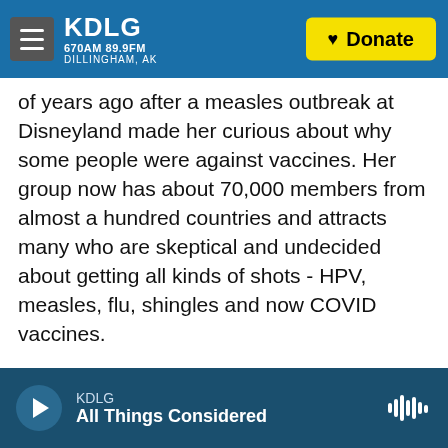KDLG 670AM 89.9FM DILLINGHAM, AK | Donate
of years ago after a measles outbreak at Disneyland made her curious about why some people were against vaccines. Her group now has about 70,000 members from almost a hundred countries and attracts many who are skeptical and undecided about getting all kinds of shots - HPV, measles, flu, shingles and now COVID vaccines.
(SOUNDBITE OF MUSIC)
BILOWITZ: The people in the group come from all different walks of life. Commonly we get mothers. Especially, we get a lot of women who are, you know, pregnant, nursing or thinking about
KDLG | All Things Considered